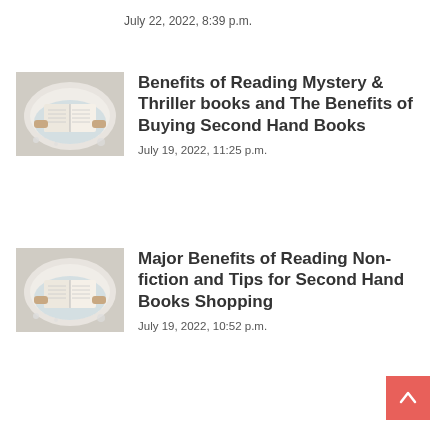July 22, 2022, 8:39 p.m.
[Figure (photo): Person reading a book in a bath, view from above showing open book pages and hands]
Benefits of Reading Mystery & Thriller books and The Benefits of Buying Second Hand Books
July 19, 2022, 11:25 p.m.
[Figure (photo): Person reading a book in a bath, view from above showing open book pages and hands]
Major Benefits of Reading Non-fiction and Tips for Second Hand Books Shopping
July 19, 2022, 10:52 p.m.